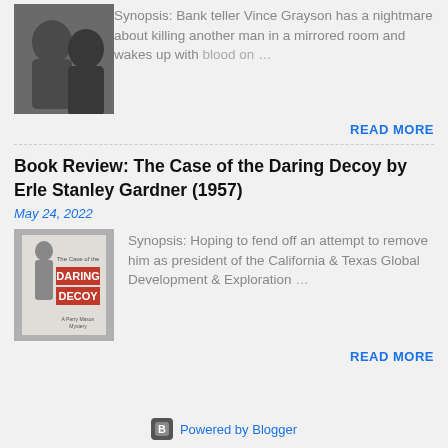[Figure (photo): Black and white photo of two people, one facing camera, one with back turned]
Synopsis: Bank teller Vince Grayson has a nightmare about killing another man in a mirrored room and wakes up with blood on …
READ MORE
Book Review: The Case of the Daring Decoy by Erle Stanley Gardner (1957)
May 24, 2022
[Figure (photo): Book cover of The Case of the Daring Decoy with DARING DECOY text in red]
Synopsis: Hoping to fend off an attempt to remove him as president of the California & Texas Global Development & Exploration …
READ MORE
Powered by Blogger